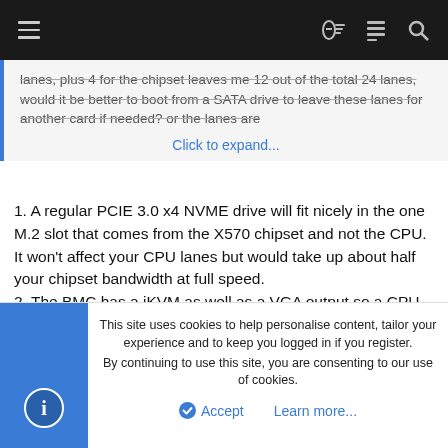Navigation bar with hamburger menu and icons
lanes, plus 4 for the chipset leaves me 12 out of the total 24 lanes, would it be better to boot from a SATA drive to leave these lanes for another card if needed? or the lanes are
Click to expand...
1. A regular PCIE 3.0 x4 NVME drive will fit nicely in the one M.2 slot that comes from the X570 chipset and not the CPU. It won't affect your CPU lanes but would take up about half your chipset bandwidth at full speed.
2. The BMC has a iKVM as well as a VGA output so a CPU with an iGPU isn't necessary.
3. Just do a search on Amazon or Newegg...the SATA ports aren't proprietary and shouldn't need any special cables...just use some simple straight port ones
4. Noctua coolers will probably cool better and be quieter
This site uses cookies to help personalise content, tailor your experience and to keep you logged in if you register.
By continuing to use this site, you are consenting to our use of cookies.
Accept   Learn more...